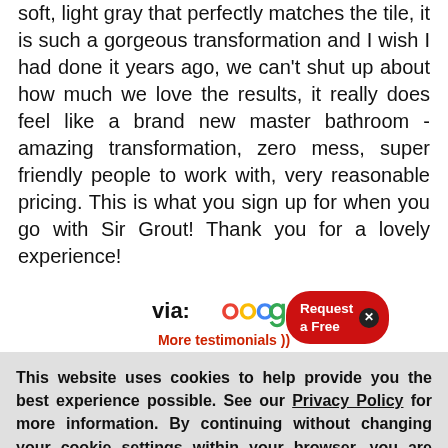soft, light gray that perfectly matches the tile, it is such a gorgeous transformation and I wish I had done it years ago, we can't shut up about how much we love the results, it really does feel like a brand new master bathroom - amazing transformation, zero mess, super friendly people to work with, very reasonable pricing. This is what you sign up for when you go with Sir Grout! Thank you for a lovely experience!
[Figure (logo): via: Google logo (partially obscured by Request a Free overlay button)]
This website uses cookies to help provide you the best experience possible. See our Privacy Policy for more information. By continuing without changing your cookie settings within your browser, you are agreeing to our use of cookies.
More testimonials ))
ACCEPT